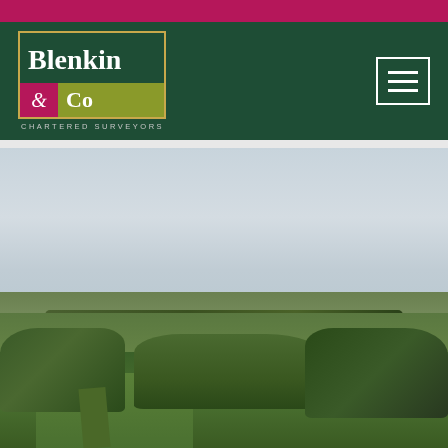[Figure (logo): Blenkin & Co Chartered Surveyors logo on dark green header with magenta top bar and hamburger menu icon]
[Figure (photo): Aerial landscape photograph of English countryside showing green fields, trees, hedgerows and overcast sky]